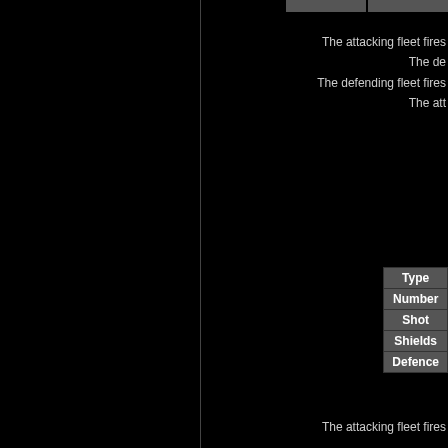The attacking fleet fires
The de
The defending fleet fires
The att
| Type | Number | Shot | Shields | Defence |
| --- | --- | --- | --- | --- |
The attacking fleet fires